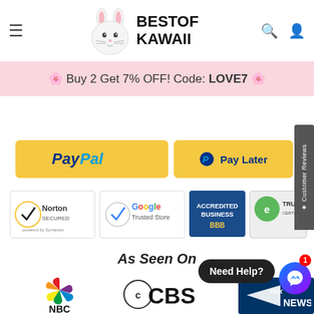[Figure (logo): Best of Kawaii logo with bunny mascot and text BESTOF KAWAII]
🌸 Buy 2 Get 7% OFF! Code: LOVE7 🌸
[Figure (logo): PayPal payment button (yellow)]
[Figure (logo): PayPal Pay Later button (yellow)]
[Figure (logo): Norton Secured powered by Symantec badge]
[Figure (logo): Google Trusted Store badge]
[Figure (logo): BBB Accredited Business badge]
[Figure (logo): TRUSTe Certified Privacy badge]
As Seen On
[Figure (logo): NBC logo]
[Figure (logo): CBS logo]
[Figure (logo): Fox News logo]
Need Help?
★ Customer Reviews